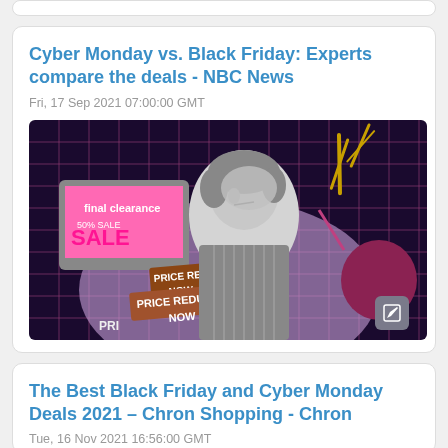Cyber Monday vs. Black Friday: Experts compare the deals - NBC News
Fri, 17 Sep 2021 07:00:00 GMT
[Figure (photo): Collage image of a vintage woman looking stressed, surrounded by sale signs, price reduction banners, and accessories on a pink grid background]
The Best Black Friday and Cyber Monday Deals 2021 – Chron Shopping - Chron
Tue, 16 Nov 2021 16:56:00 GMT